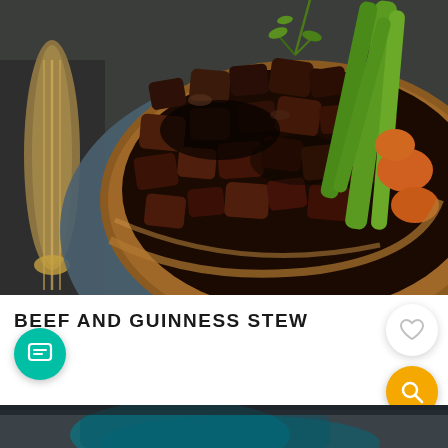[Figure (photo): Close-up photo of beef and Guinness stew in a copper-rimmed blue bowl with vegetables including green beans and carrots, with a decorative spoon beside it]
BEEF AND GUINNESS STEW
[Figure (photo): Partial photo of a second food dish, blurred blue tones, partially visible at the bottom of the screen]
155